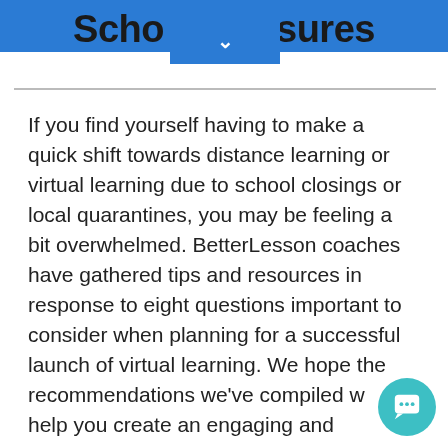School Closures
If you find yourself having to make a quick shift towards distance learning or virtual learning due to school closings or local quarantines, you may be feeling a bit overwhelmed. BetterLesson coaches have gathered tips and resources in response to eight questions important to consider when planning for a successful launch of virtual learning. We hope the recommendations we've compiled w... help you create an engaging and